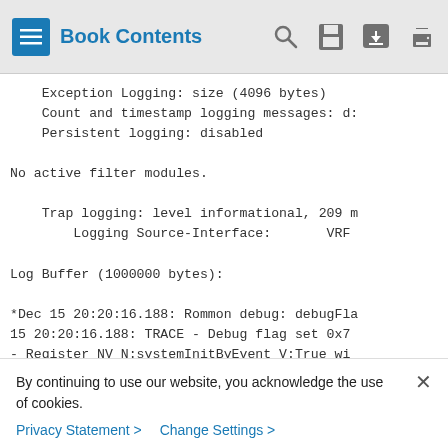Book Contents
Exception Logging: size (4096 bytes)
    Count and timestamp logging messages: d:
    Persistent logging: disabled

No active filter modules.

    Trap logging: level informational, 209 m
        Logging Source-Interface:       VRF

Log Buffer (1000000 bytes):

*Dec 15 20:20:16.188: Rommon debug: debugFla
15 20:20:16.188: TRACE - Debug flag set 0x7
- Register NV N:systemInitByEvent V:True wi
20:20:16.188: TRACE - Register NV N:routingM
By continuing to use our website, you acknowledge the use of cookies.
Privacy Statement > Change Settings >